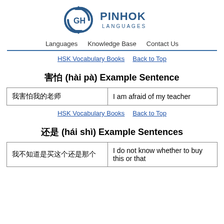[Figure (logo): Pinhok Languages logo with circular arrow icon and text PINHOK LANGUAGES]
Languages   Knowledge Base   Contact Us
HSK Vocabulary Books   Back to Top
害怕 (hài pà) Example Sentence
| 我害怕我的老师 | I am afraid of my teacher |
HSK Vocabulary Books   Back to Top
还是 (hái shì) Example Sentences
| 我不知道是买这个还是那个 | I do not know whether to buy this or that |